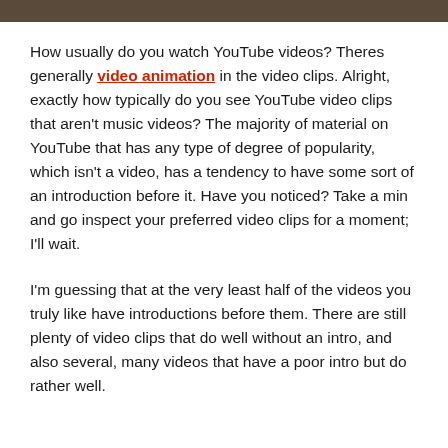[Figure (photo): Dark brownish image strip at top of page]
How usually do you watch YouTube videos? Theres generally video animation in the video clips. Alright, exactly how typically do you see YouTube video clips that aren't music videos? The majority of material on YouTube that has any type of degree of popularity, which isn't a video, has a tendency to have some sort of an introduction before it. Have you noticed? Take a min and go inspect your preferred video clips for a moment; I'll wait.
I'm guessing that at the very least half of the videos you truly like have introductions before them. There are still plenty of video clips that do well without an intro, and also several, many videos that have a poor intro but do rather well.